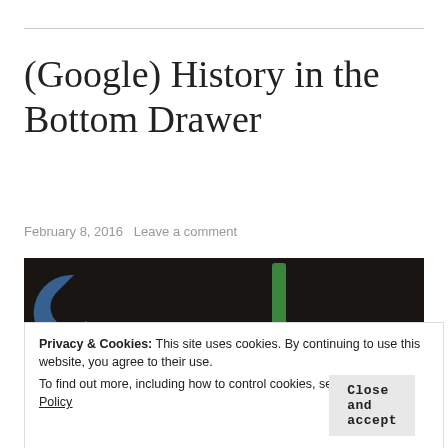(Google) History in the Bottom Drawer
February 8, 2016   Leave a comment
[Figure (photo): Dark background image showing portions of colorful Google logo letters, blue and green, against a very dark brown/black textured surface.]
Privacy & Cookies: This site uses cookies. By continuing to use this website, you agree to their use.
To find out more, including how to control cookies, see here: Cookie Policy
Close and accept